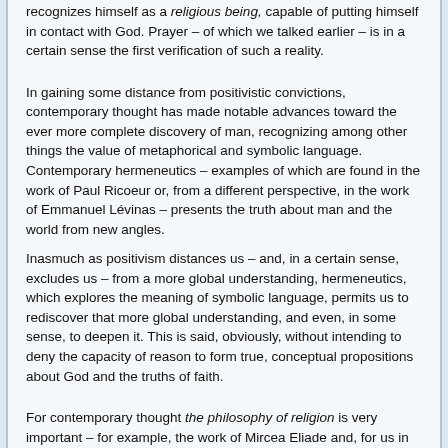recognizes himself as a religious being, capable of putting himself in contact with God. Prayer – of which we talked earlier – is in a certain sense the first verification of such a reality.
In gaining some distance from positivistic convictions, contemporary thought has made notable advances toward the ever more complete discovery of man, recognizing among other things the value of metaphorical and symbolic language. Contemporary hermeneutics – examples of which are found in the work of Paul Ricoeur or, from a different perspective, in the work of Emmanuel Lévinas – presents the truth about man and the world from new angles.
Inasmuch as positivism distances us – and, in a certain sense, excludes us – from a more global understanding, hermeneutics, which explores the meaning of symbolic language, permits us to rediscover that more global understanding, and even, in some sense, to deepen it. This is said, obviously, without intending to deny the capacity of reason to form true, conceptual propositions about God and the truths of faith.
For contemporary thought the philosophy of religion is very important – for example, the work of Mircea Eliade and, for us in Poland, that of Archbishop Marian Jaworski and the school of Lublin. We are witnesses of a symptomatic return to metaphysics (the philosophy of being) through an integral anthropology. One cannot think adequately about man without reference, which for man is constitutive, to God. Saint Thomas defined this as actus essendi (essential act), in the language of the philosophy of existence. The philosophy of religion expresses this with